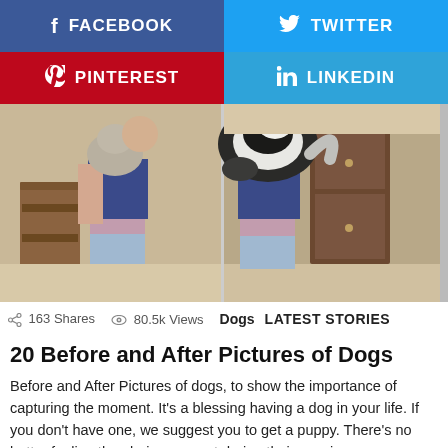[Figure (other): Facebook share button (blue)]
[Figure (other): Twitter share button (light blue)]
[Figure (other): Pinterest share button (red)]
[Figure (other): LinkedIn share button (blue)]
[Figure (photo): Two side-by-side photos: left shows a woman holding a small animal, right shows a larger dog climbing on the same woman. Indoor setting.]
163 Shares  80.5k Views  Dogs  LATEST STORIES
20 Before and After Pictures of Dogs
Before and After Pictures of dogs, to show the importance of capturing the moment. It’s a blessing having a dog in your life. If you don’t have one, we suggest you to get a puppy. There’s no better feeling than being present during their growing process.  Save the most beautiful moments on your electronic devices. [...] MORE
by Klaidi Telha